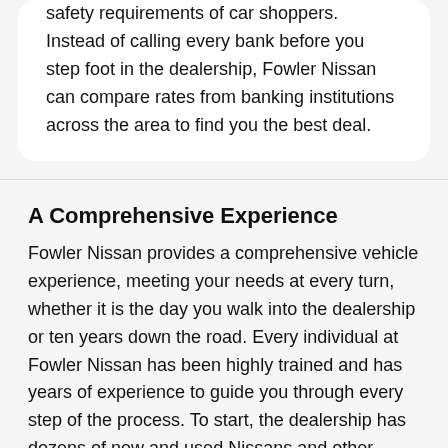safety requirements of car shoppers. Instead of calling every bank before you step foot in the dealership, Fowler Nissan can compare rates from banking institutions across the area to find you the best deal.
A Comprehensive Experience
Fowler Nissan provides a comprehensive vehicle experience, meeting your needs at every turn, whether it is the day you walk into the dealership or ten years down the road. Every individual at Fowler Nissan has been highly trained and has years of experience to guide you through every step of the process. To start, the dealership has dozens of new and used Nissans and other vehicles in stock for shoppers looking to purchase their next vehicle. The sales team understands the